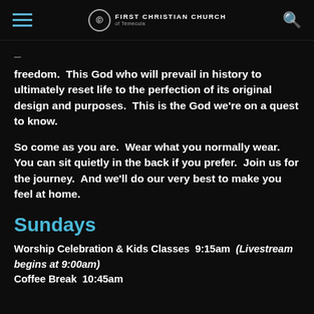First Christian Church
freedom.  This God who will prevail in history to ultimately reset life to the perfection of its original design and purposes.  This is the God we're on a quest to know.
So come as you are.  Wear what you normally wear.  You can sit quietly in the back if you prefer.  Join us for the journey.  And we'll do our very best to make you feel at home.
Sundays
Worship Celebration & Kids Classes  9:15am  (Livestream begins at 9:00am)
Coffee Break  10:45am